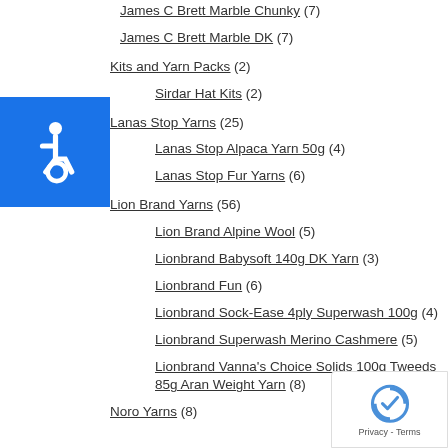James C Brett Marble Chunky (7)
James C Brett Marble DK (7)
Kits and Yarn Packs (2)
Sirdar Hat Kits (2)
Lanas Stop Yarns (25)
Lanas Stop Alpaca Yarn 50g (4)
Lanas Stop Fur Yarns (6)
Lion Brand Yarns (56)
Lion Brand Alpine Wool (5)
Lionbrand Babysoft 140g DK Yarn (3)
Lionbrand Fun (6)
Lionbrand Sock-Ease 4ply Superwash 100g (4)
Lionbrand Superwash Merino Cashmere (5)
Lionbrand Vanna's Choice Solids 100g Tweeds 85g Aran Weight Yarn (8)
Noro Yarns (8)